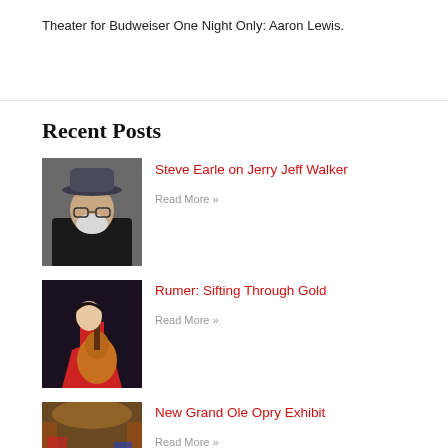Theater for Budweiser One Night Only: Aaron Lewis.
Recent Posts
[Figure (photo): Portrait of a man with a grey beard wearing a hat and dark jacket]
Steve Earle on Jerry Jeff Walker
Read More »
[Figure (photo): Woman in red dress holding an acoustic guitar on stage]
Rumer: Sifting Through Gold
Read More »
[Figure (photo): Interior of a theater or concert hall with warm lighting]
New Grand Ole Opry Exhibit
Read More »